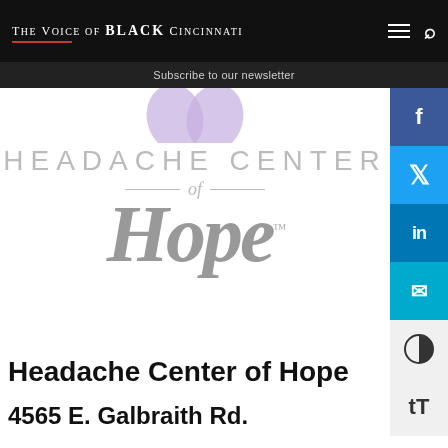The Voice of BLACK Cincinnati
Subscribe to our newsletter
[Figure (logo): Headache Center of Hope logo with purple ribbon, HEADACHE CENTER lettering in grey, cursive 'of Hope' script in grey, and trademark symbol]
Headache Center of Hope
4565 E. Galbraith Rd.